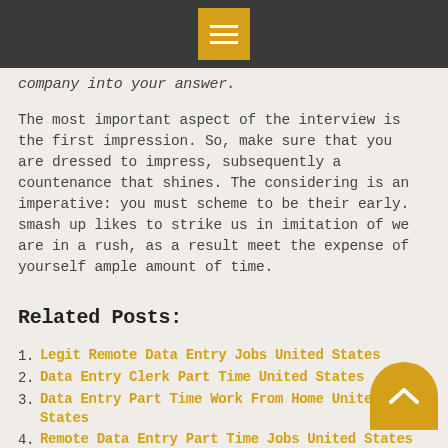[menu icon]
company into your answer.
The most important aspect of the interview is the first impression. So, make sure that you are dressed to impress, subsequently a countenance that shines. The considering is an imperative: you must scheme to be their early. smash up likes to strike us in imitation of we are in a rush, as a result meet the expense of yourself ample amount of time.
Related Posts:
Legit Remote Data Entry Jobs United States
Data Entry Clerk Part Time United States
Data Entry Part Time Work From Home United States
Remote Data Entry Part Time Jobs United States